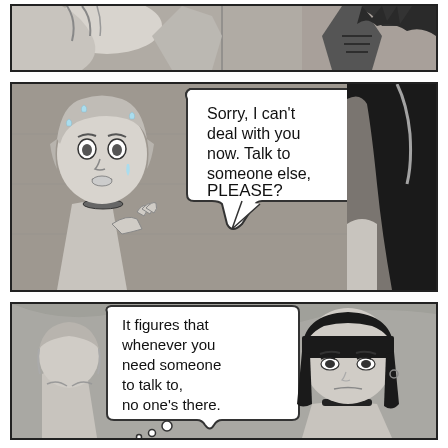[Figure (illustration): Comic panel 1 (top): partial view of two figures, one with dark spiked hair/corset and another figure, cropped at top of page]
[Figure (illustration): Comic panel 2 (middle): A distressed short-haired character with sweat drops speaking in a speech bubble: 'Sorry, I can't deal with you now. Talk to someone else, PLEASE?' A dark-haired figure is partially visible on the right.]
[Figure (illustration): Comic panel 3 (bottom): A dark-haired female character with blunt bangs and choker speaks in a thought/speech bubble: 'It figures that whenever you need someone to talk to, no one's there.' A figure with back turned is on the left.]